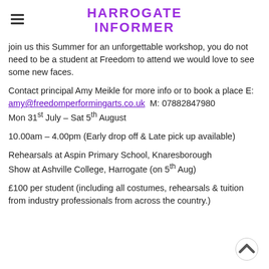HARROGATE INFORMER
join us this Summer for an unforgettable workshop, you do not need to be a student at Freedom to attend we would love to see some new faces.
Contact principal Amy Meikle for more info or to book a place E: amy@freedomperformingarts.co.uk  M: 07882847980
Mon 31st July – Sat 5th August
10.00am – 4.00pm (Early drop off & Late pick up available)
Rehearsals at Aspin Primary School, Knaresborough
Show at Ashville College, Harrogate (on 5th Aug)
£100 per student (including all costumes, rehearsals & tuition from industry professionals from across the country.)